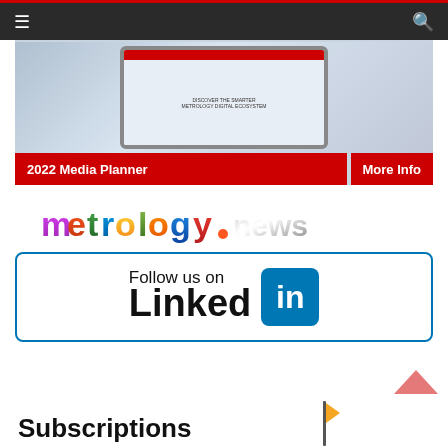Navigation bar with hamburger menu and search icon
[Figure (photo): 2022 Media Planner banner showing a tablet device with a metrology website, with red overlay labels '2022 Media Planner' and 'More Info']
[Figure (logo): metrology.news logo in colorful gradient text]
[Figure (infographic): Follow us on LinkedIn banner with blue border and LinkedIn icon]
[Figure (other): Orange flag icon at bottom right area]
[Figure (other): Back to top chevron arrow icon in salmon/red color]
Subscriptions